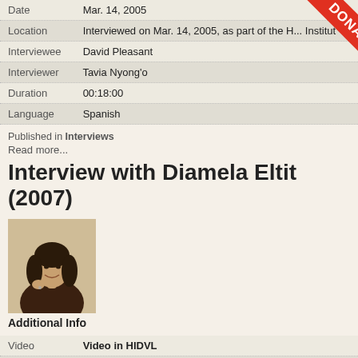| Date | Mar. 14, 2005 |
| Location | Interviewed on Mar. 14, 2005, as part of the ... Institut |
| Interviewee | David Pleasant |
| Interviewer | Tavia Nyong'o |
| Duration | 00:18:00 |
| Language | Spanish |
Published in Interviews
Read more...
Interview with Diamela Eltit (2007)
[Figure (photo): Portrait photo of a woman with dark hair, smiling, wearing a brown jacket]
Additional Info
| Video | Video in HIDVL |
| Title | Interview with Diamela Eltit |
| Date | 16 June 2007 |